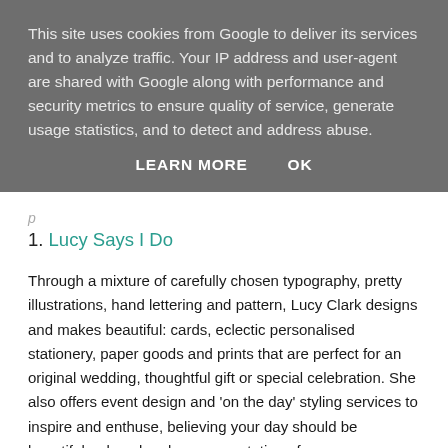This site uses cookies from Google to deliver its services and to analyze traffic. Your IP address and user-agent are shared with Google along with performance and security metrics to ensure quality of service, generate usage statistics, and to detect and address abuse.
LEARN MORE   OK
1. Lucy Says I Do
Through a mixture of carefully chosen typography, pretty illustrations, hand lettering and pattern, Lucy Clark designs and makes beautiful: cards, eclectic personalised stationery, paper goods and prints that are perfect for an original wedding, thoughtful gift or special celebration. She also offers event design and 'on the day' styling services to inspire and enthuse, believing your day should be beautiful, relaxed and a representation of you.
She works with a serious passion for design and paper in a